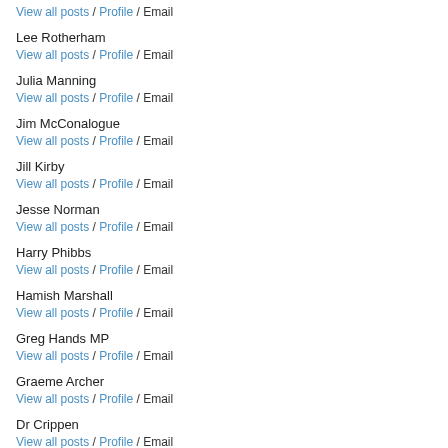View all posts / Profile / Email
Lee Rotherham
View all posts / Profile / Email
Julia Manning
View all posts / Profile / Email
Jim McConalogue
View all posts / Profile / Email
Jill Kirby
View all posts / Profile / Email
Jesse Norman
View all posts / Profile / Email
Harry Phibbs
View all posts / Profile / Email
Hamish Marshall
View all posts / Profile / Email
Greg Hands MP
View all posts / Profile / Email
Graeme Archer
View all posts / Profile / Email
Dr Crippen
View all posts / Profile / Email
Douglas Murray
View all posts / Profile / Email